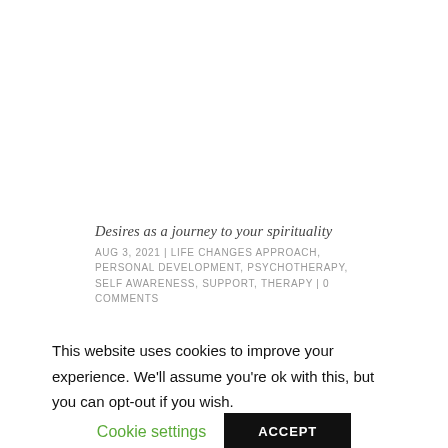Desires as a journey to your spirituality
AUG 3, 2021 | LIFE CHANGES APPROACH, PERSONAL DEVELOPMENT, PSYCHOTHERAPY, SELF AWARENESS, SUPPORT, THERAPY | 0 COMMENTS
Have you ever wondered how many times fear is actually stopping you? How many times have you
This website uses cookies to improve your experience. We'll assume you're ok with this, but you can opt-out if you wish.
Cookie settings
ACCEPT